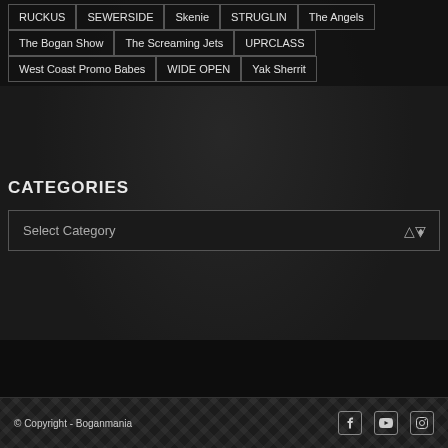RUCKUS
SEWERSIDE
Skenie
STRUGLIN
The Angels
The Bogan Show
The Screaming Jets
UPRCLASS
West Coast Promo Babes
WIDE OPEN
Yak Sherrit
CATEGORIES
Select Category
© Copyright - Boganmania